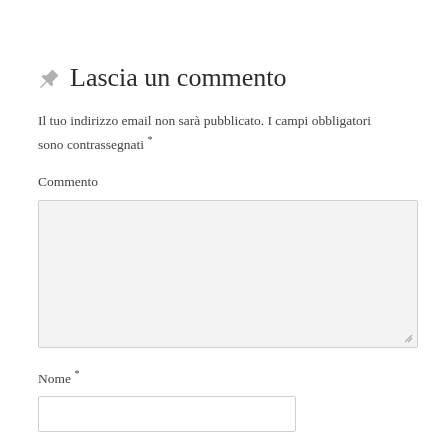Lascia un commento
Il tuo indirizzo email non sarà pubblicato. I campi obbligatori sono contrassegnati *
Commento
Nome *
Email *